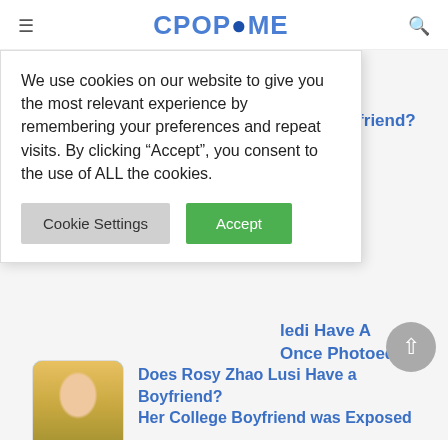CPOPHOME
We use cookies on our website to give you the most relevant experience by remembering your preferences and repeat visits. By clicking “Accept”, you consent to the use of ALL the cookies.
Cookie Settings | Accept
ave A Girlfriend? oe?
ledi Have A Once Photoed
Does Rosy Zhao Lusi Have a Boyfriend? Her College Boyfriend was Exposed
How Is Xu Kai And Cheng Xiao’s Relationship